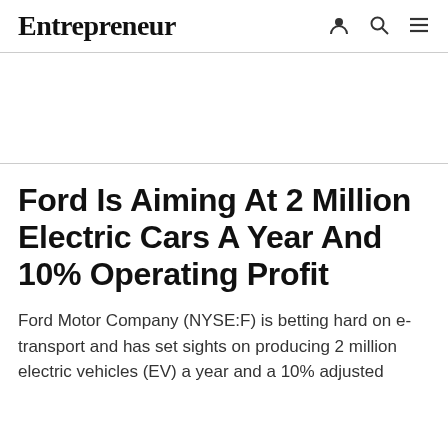Entrepreneur
Ford Is Aiming At 2 Million Electric Cars A Year And 10% Operating Profit
Ford Motor Company (NYSE:F) is betting hard on e-transport and has set sights on producing 2 million electric vehicles (EV) a year and a 10% adjusted